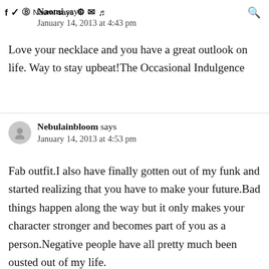f  Naomi says  [icons]  January 14, 2013 at 4:43 pm
Love your necklace and you have a great outlook on life. Way to stay upbeat!The Occasional Indulgence
Nebulainbloom says
January 14, 2013 at 4:53 pm
Fab outfit.I also have finally gotten out of my funk and started realizing that you have to make your future.Bad things happen along the way but it only makes your character stronger and becomes part of you as a person.Negative people have all pretty much been ousted out of my life.